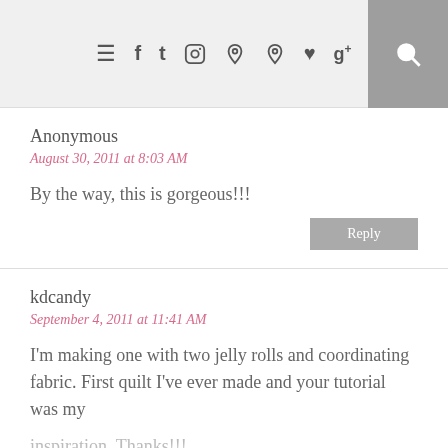≡ f t instagram pinterest pinterest heart g+ search
Anonymous
August 30, 2011 at 8:03 AM
By the way, this is gorgeous!!!
kdcandy
September 4, 2011 at 11:41 AM
I'm making one with two jelly rolls and coordinating fabric. First quilt I've ever made and your tutorial was my inspiration. Thanks!!!